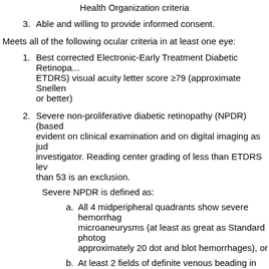Health Organization criteria
3. Able and willing to provide informed consent.
Meets all of the following ocular criteria in at least one eye:
1. Best corrected Electronic-Early Treatment Diabetic Retinopa... ETDRS) visual acuity letter score ≥79 (approximate Snellen or better)
2. Severe non-proliferative diabetic retinopathy (NPDR) (based evident on clinical examination and on digital imaging as jud investigator. Reading center grading of less than ETDRS lev than 53 is an exclusion.
Severe NPDR is defined as:
a. All 4 midperipheral quadrants show severe hemorrhag microaneurysms (at least as great as Standard photog approximately 20 dot and blot hemorrhages), or
b. At least 2 fields of definite venous beading in the midp quadrants or at least 1 field at least as severe as Star 6A, or